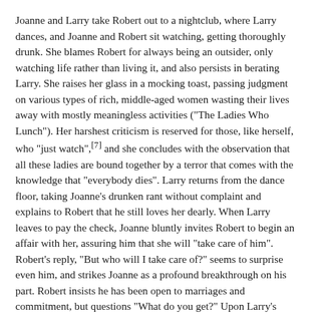Joanne and Larry take Robert out to a nightclub, where Larry dances, and Joanne and Robert sit watching, getting thoroughly drunk. She blames Robert for always being an outsider, only watching life rather than living it, and also persists in berating Larry. She raises her glass in a mocking toast, passing judgment on various types of rich, middle-aged women wasting their lives away with mostly meaningless activities ("The Ladies Who Lunch"). Her harshest criticism is reserved for those, like herself, who "just watch",[7] and she concludes with the observation that all these ladies are bound together by a terror that comes with the knowledge that "everybody dies". Larry returns from the dance floor, taking Joanne's drunken rant without complaint and explains to Robert that he still loves her dearly. When Larry leaves to pay the check, Joanne bluntly invites Robert to begin an affair with her, assuring him that she will "take care of him". Robert's reply, "But who will I take care of?" seems to surprise even him, and strikes Joanne as a profound breakthrough on his part. Robert insists he has been open to marriages and commitment, but questions "What do you get?" Upon Larry's return, Robert asks again, angrily, "What do you get?" Joanne declares, with some satisfaction, "I just did someone a big favor". She and Larry go home, leaving Robert lost in frustrated contemplation.
The couples' recurrent musical motif begins yet again, as they all